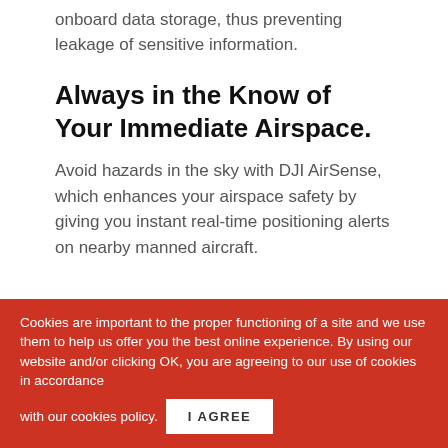onboard data storage, thus preventing leakage of sensitive information.
Always in the Know of Your Immediate Airspace.
Avoid hazards in the sky with DJI AirSense, which enhances your airspace safety by giving you instant real-time positioning alerts on nearby manned aircraft.
[Figure (screenshot): Dark background airspace radar/map visualization with teal/cyan geometric lines on a dark blue background]
Cookies are important to the proper functioning of a site and we use them to help us offer you the best online experience. By using our website and/or clicking OK, you are agreeing to our use of cookies in accordance with our cookies policy. I AGREE